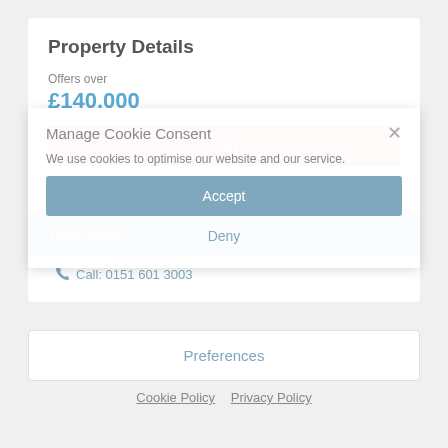Property Details
Offers over
£140,000
Sold
Bedrooms: 3
Harland Green, Liverpool
Town house
Call: 0151 601 3003
Manage Cookie Consent
We use cookies to optimise our website and our service.
Accept
Deny
Preferences
Cookie Policy  Privacy Policy